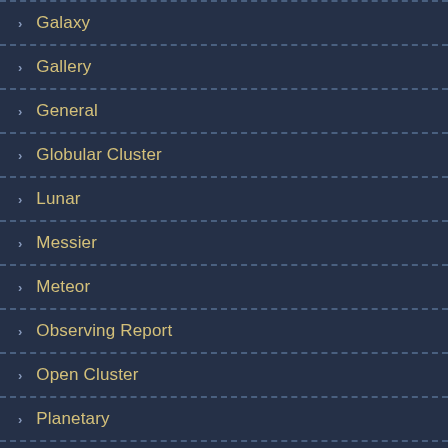Galaxy
Gallery
General
Globular Cluster
Lunar
Messier
Meteor
Observing Report
Open Cluster
Planetary
Planetary Nebula
SG-Artificial Satellite
SG-Asterism